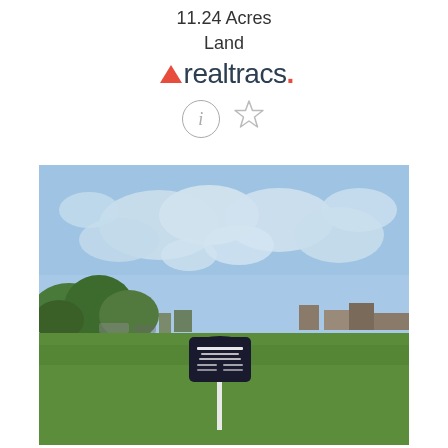11.24 Acres
Land
[Figure (logo): Realtracs logo with red arrow/triangle above the text and a period at the end]
[Figure (other): Info icon (circled i) and star/favorite icon]
[Figure (photo): Outdoor photo of a grassy field with a For Sale sign on a post, trees in background left, buildings visible in distance, partly cloudy blue sky]